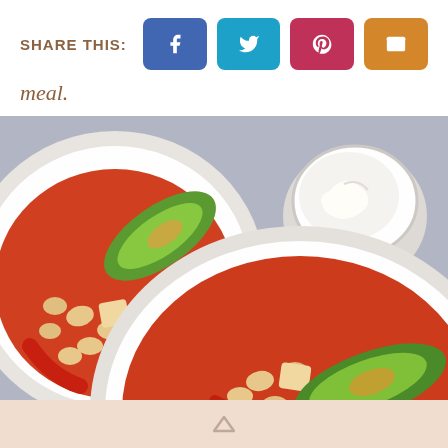SHARE THIS:
meal.
[Figure (photo): Two white bowls of bean soup with avocado slices, diced potato, red pepper, in a tomato broth, served on a grey surface. A small white cup of sour cream is also visible.]